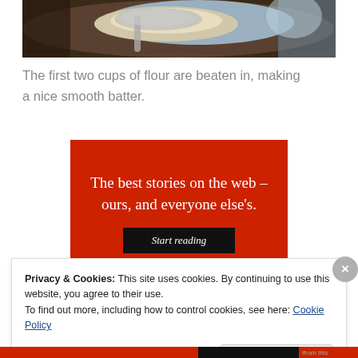[Figure (photo): Close-up photo of dough or batter in a mixing bowl with a spoon, showing a creamy smooth texture against a dark background]
The first two cups of flour are beaten in, making a nice smooth batter.
[Figure (infographic): Red advertisement banner reading 'The best stories on the web – ours, and everyone else's.' with a black 'Start reading' button]
Privacy & Cookies: This site uses cookies. By continuing to use this website, you agree to their use.
To find out more, including how to control cookies, see here: Cookie Policy
Close and accept